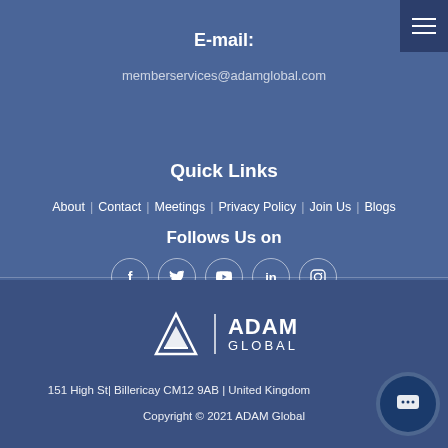E-mail:
memberservices@adamglobal.com
Quick Links
About | Contact | Meetings | Privacy Policy | Join Us | Blogs
Follows Us on
[Figure (infographic): Social media icons: Facebook, Twitter, YouTube, LinkedIn, Instagram]
[Figure (logo): ADAM GLOBAL logo with triangle icon]
151 High St| Billericay CM12 9AB | United Kingdom
Copyright © 2021 ADAM Global